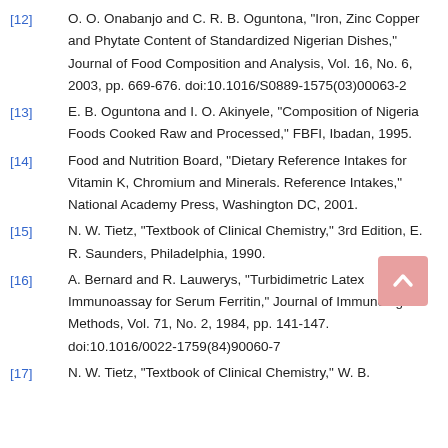[12] O. O. Onabanjo and C. R. B. Oguntona, "Iron, Zinc Copper and Phytate Content of Standardized Nigerian Dishes," Journal of Food Composition and Analysis, Vol. 16, No. 6, 2003, pp. 669-676. doi:10.1016/S0889-1575(03)00063-2
[13] E. B. Oguntona and I. O. Akinyele, "Composition of Nigeria Foods Cooked Raw and Processed," FBFI, Ibadan, 1995.
[14] Food and Nutrition Board, "Dietary Reference Intakes for Vitamin K, Chromium and Minerals. Reference Intakes," National Academy Press, Washington DC, 2001.
[15] N. W. Tietz, "Textbook of Clinical Chemistry," 3rd Edition, E. R. Saunders, Philadelphia, 1990.
[16] A. Bernard and R. Lauwerys, "Turbidimetric Latex Immunoassay for Serum Ferritin," Journal of Immunological Methods, Vol. 71, No. 2, 1984, pp. 141-147. doi:10.1016/0022-1759(84)90060-7
[17] N. W. Tietz, "Textbook of Clinical Chemistry," W. B.